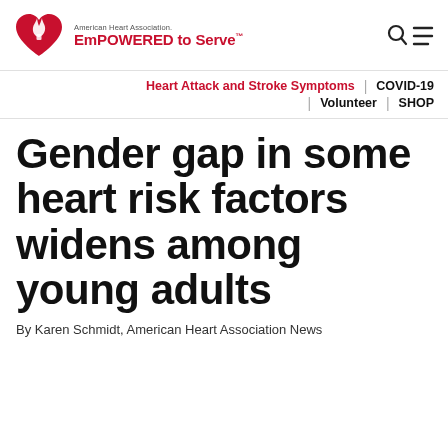[Figure (logo): American Heart Association EmPOWERED to Serve logo with red heart and flame icon]
Heart Attack and Stroke Symptoms | COVID-19 | Volunteer | SHOP
Gender gap in some heart risk factors widens among young adults
By Karen Schmidt, American Heart Association News